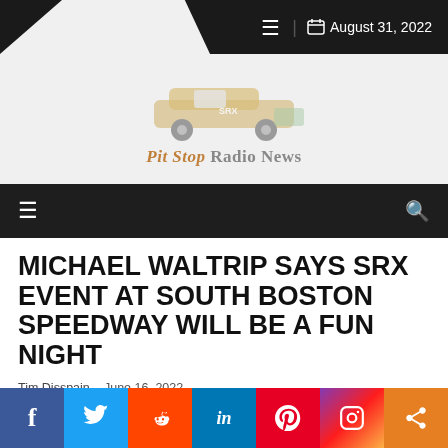August 31, 2022
[Figure (logo): Pit Stop Radio News logo with illustrated racing car above text]
MICHAEL WALTRIP SAYS SRX EVENT AT SOUTH BOSTON SPEEDWAY WILL BE A FUN NIGHT
Tim Disspain  -  June 16, 2022